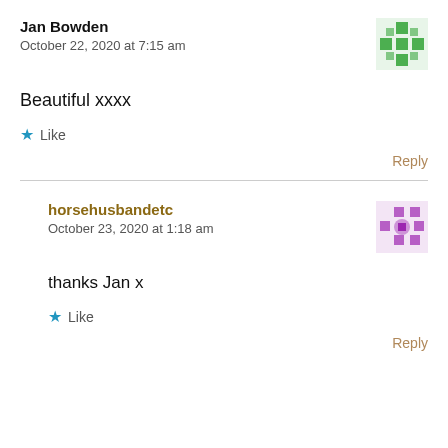Jan Bowden
October 22, 2020 at 7:15 am
Beautiful xxxx
Like
Reply
horsehusbandetc
October 23, 2020 at 1:18 am
thanks Jan x
Like
Reply